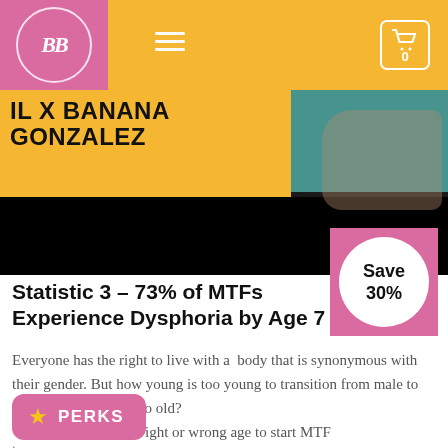BB logo header with hamburger menu and cart (0 items)
[Figure (photo): Partially visible banner image with text 'IL X BANANA GONZALEZ' over a dark background with a person's hands visible on the right side]
Statistic 3 – 73% of MTFs Experience Dysphoria by Age 7
Everyone has the right to live with a body that is synonymous with their gender. But how young is too young to transition from male to female? How old is too old?
W[hat is the] right or wrong age to start MTF t[ransition...]
[Figure (infographic): Pink square badge with white circle containing bold text 'Save 30%']
[Figure (infographic): Pink rounded rectangle button with gold star icon and white text 'PERKS']